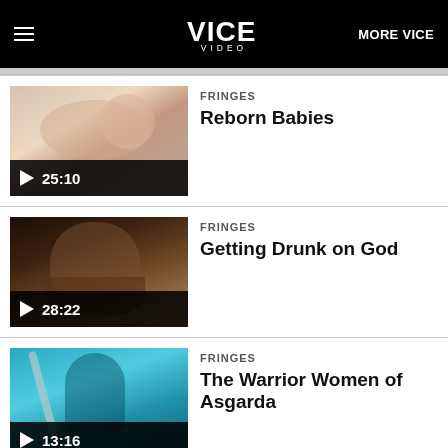VICE VIDEO | MORE VICE
[Figure (screenshot): Video thumbnail for Reborn Babies showing a baby lying down, with play button and duration 25:10]
FRINGES
Reborn Babies
[Figure (screenshot): Video thumbnail for Getting Drunk on God showing a person with face tattoos and beard, with play button and duration 28:22]
FRINGES
Getting Drunk on God
[Figure (screenshot): Video thumbnail for The Warrior Women of Asgarda showing a person with a large blade, with play button and duration 13:16]
FRINGES
The Warrior Women of Asgarda